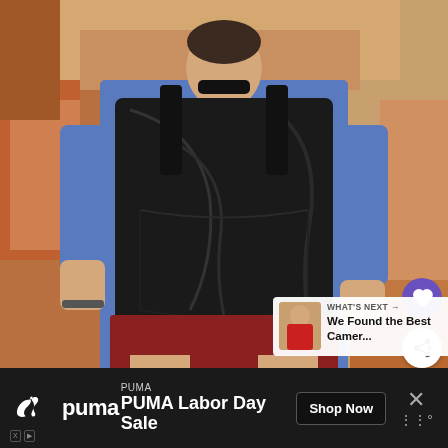[Figure (photo): A man seen from behind wearing a blue t-shirt and red shorts, carrying a large black shiny packable backpack. The background shows reddish-brown rocky terrain, suggesting an outdoor/hiking setting.]
WHAT'S NEXT → We Found the Best Camer...
[Figure (photo): Small thumbnail showing a person in a red shirt, part of a 'What's Next' content recommendation panel.]
PUMA
PUMA Labor Day Sale
Shop Now